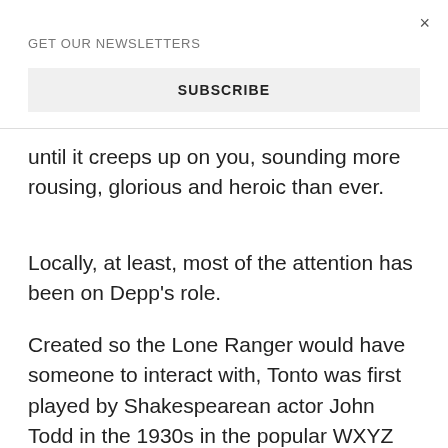×
GET OUR NEWSLETTERS
SUBSCRIBE
until it creeps up on you, sounding more rousing, glorious and heroic than ever.
Locally, at least, most of the attention has been on Depp's role.
Created so the Lone Ranger would have someone to interact with, Tonto was first played by Shakespearean actor John Todd in the 1930s in the popular WXYZ radio serial. Two decades later, the character made its television splash with